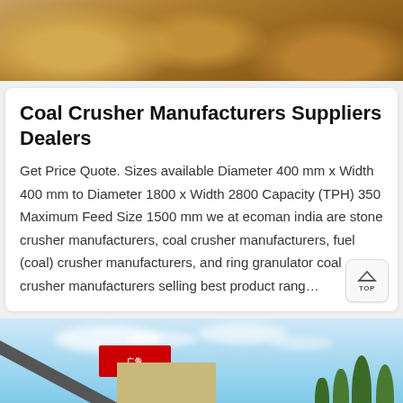[Figure (photo): Aerial or close-up photo of soil/dirt/earth material, brownish earth tones, possibly a quarry or earth-moving site]
Coal Crusher Manufacturers Suppliers Dealers
Get Price Quote. Sizes available Diameter 400 mm x Width 400 mm to Diameter 1800 x Width 2800 Capacity (TPH) 350 Maximum Feed Size 1500 mm we at ecoman india are stone crusher manufacturers, coal crusher manufacturers, fuel (coal) crusher manufacturers, and ring granulator coal crusher manufacturers selling best product rang…
[Figure (photo): Outdoor industrial photo showing crushing/conveyor machinery against a blue sky with clouds, a building and trees in the background, with a customer service representative overlay and orange Message/Online Chat buttons at the bottom]